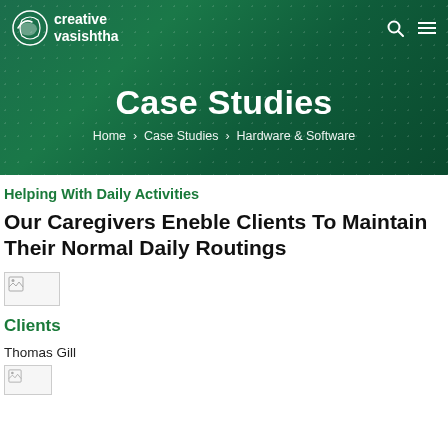creative vasishtha
Case Studies
Home › Case Studies › Hardware & Software
Helping With Daily Activities
Our Caregivers Eneble Clients To Maintain Their Normal Daily Routings
[Figure (photo): Broken image placeholder (wide)]
Clients
Thomas Gill
[Figure (photo): Broken image placeholder (small)]